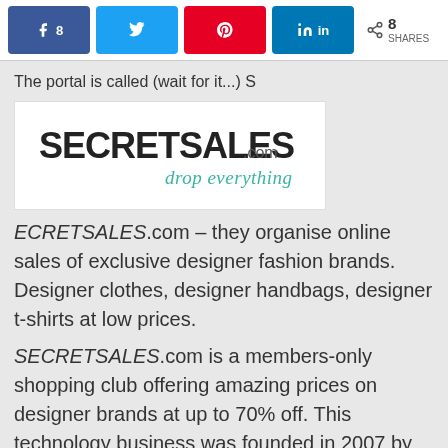8 SHARES — social share bar with Facebook (8), Twitter, Pinterest, LinkedIn buttons
The portal is called (wait for it...) S
[Figure (logo): SECRETSALES.com logo with tagline 'drop everything']
ECRETSALES.com – they organise online sales of exclusive designer fashion brands. Designer clothes, designer handbags, designer t-shirts at low prices.
SECRETSALES.com is a members-only shopping club offering amazing prices on designer brands at up to 70% off. This technology business was founded in 2007 by brothers Nish and Sach Kukadia to shake up the online retail industry and give high street labels a way of selling out-of-season stock without devaluing their brand in the eyes of their consumers and is now